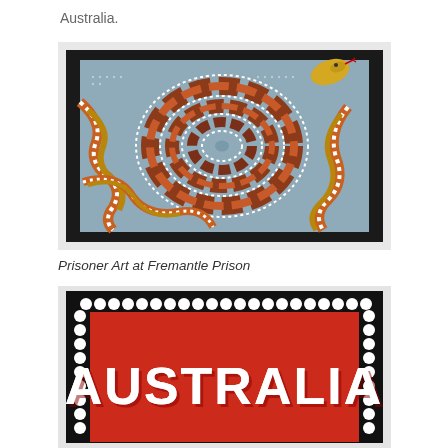Australia.
[Figure (photo): A framed Aboriginal dot painting artwork displayed on a white wall. The painting features a central spiral/circular motif in terracotta, brown, and ochre colors with white dot patterns against a grey-blue background, with serpentine snake-like forms extending to the edges. The artwork is mounted in a black frame.]
Prisoner Art at Fremantle Prison
[Figure (photo): Partial view of another framed artwork displayed on a white wall. The artwork appears to be a decorative postage stamp design rendered in dot/bead art, showing the word 'AUSTRALIA' in large white 3D letters on a red background, with a black border featuring white dots in a scalloped pattern.]